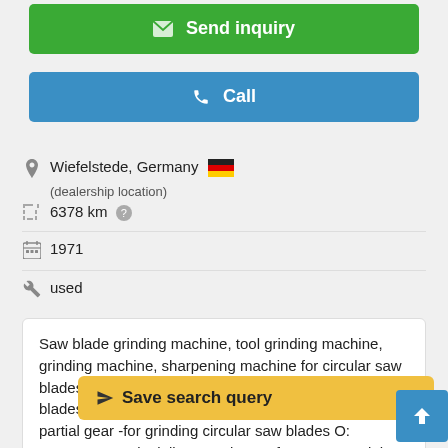✉ Send inquiry
✆ Call
Wiefelstede, Germany 🇩🇪
(dealership location)
6378 km ?
1971
used
Saw blade grinding machine, tool grinding machine, grinding machine, sharpening machine for circular saw blades -Sharpening machine for cold circular saw blades, 2di7qax9l -Saw blade sharpening machine with partial gear -for grinding circular saw blades O: a... ic delivery and turn of... 0 mm - Weight: 694 kg
Save search query